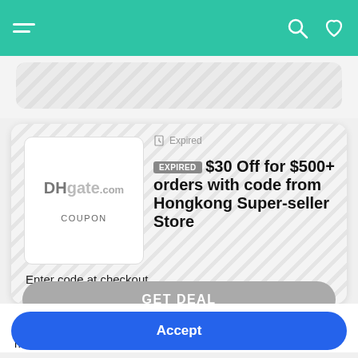[Figure (screenshot): Mobile app navigation bar with teal/green background, hamburger menu on left, search and heart icons on right]
[Figure (screenshot): Expired coupon card for DHgate.com showing '$30 Off for $500+ orders with code from Hongkong Super-seller Store' with EXPIRED badge and GET DEAL button]
Enter code at checkout.
This website or its third-party tools use cookies, which are necessary for its functioning.
Accept